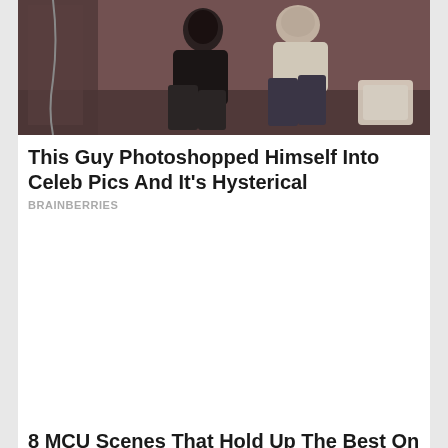[Figure (photo): Two people sitting against a brick wall. One person in a black sweater and jeans, another in a light blue shirt and dark pants.]
This Guy Photoshopped Himself Into Celeb Pics And It's Hysterical
BRAINBERRIES
[Figure (photo): Advertisement or content placeholder (blank white space)]
8 MCU Scenes That Hold Up The Best On A Rewatch
BRAINBERRIES